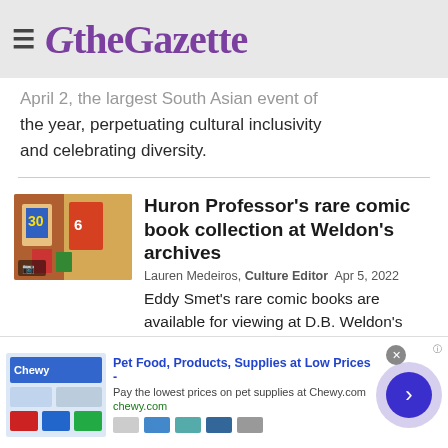theGazette
April 2, the largest South Asian event of the year, perpetuating cultural inclusivity and celebrating diversity.
Huron Professor's rare comic book collection at Weldon's archives
Lauren Medeiros, Culture Editor  Apr 5, 2022
Eddy Smet's rare comic books are available for viewing at D.B. Weldon's Archives.
[Figure (photo): Thumbnail image of comic books, colorful illustration]
[Figure (screenshot): Advertisement banner for Chewy.com - Pet Food, Products, Supplies at Low Prices. Pay the lowest prices on pet supplies at Chewy.com]